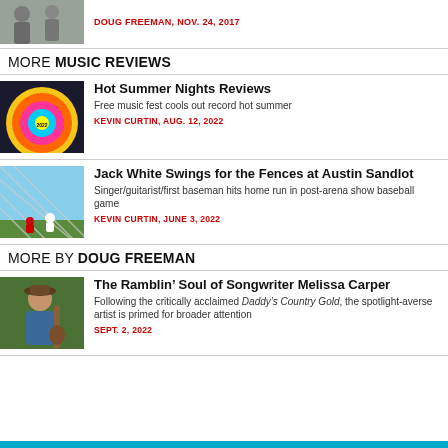[Figure (photo): Partial view of people walking outdoors in winter clothing]
DOUG FREEMAN, NOV. 24, 2017
MORE MUSIC REVIEWS
[Figure (photo): Hot Summer Nights 2022 colorful psychedelic circular festival logo]
Hot Summer Nights Reviews
Free music fest cools out record hot summer
KEVIN CURTIN, AUG. 12, 2022
[Figure (photo): Baseball players on a sunny green field viewed through a chain-link fence]
Jack White Swings for the Fences at Austin Sandlot
Singer/guitarist/first baseman hits home run in post-arena show baseball game
KEVIN CURTIN, JUNE 3, 2022
MORE BY DOUG FREEMAN
[Figure (photo): Woman in a hat holding a bass instrument outdoors among trees]
The Ramblin’ Soul of Songwriter Melissa Carper
Following the critically acclaimed Daddy’s Country Gold, the spotlight-averse artist is primed for broader attention
SEPT. 2, 2022